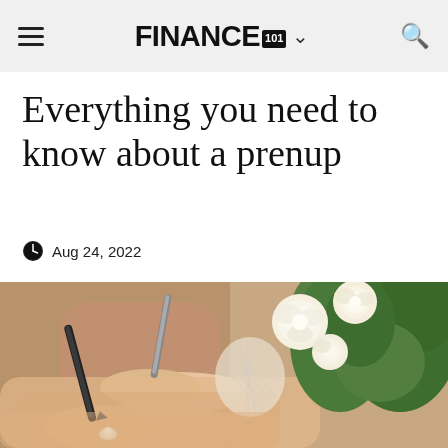FINANCE 101
Everything you need to know about a prenup
Aug 24, 2022
[Figure (photo): Close-up of a woman's hands signing a document with a pen, wearing an engagement ring, with white/yellow roses visible in the background]